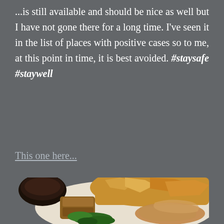...is still available and should be nice as well but I have not gone there for a long time. I've seen it in the list of places with positive cases so to me, at this point in time, it is best avoided. #staysafe #staywell
This one here...
[Figure (photo): A plate of Asian food including fried tofu, omelet pieces, green vegetables, and braised items, with a small bowl of dark sauce in the background.]